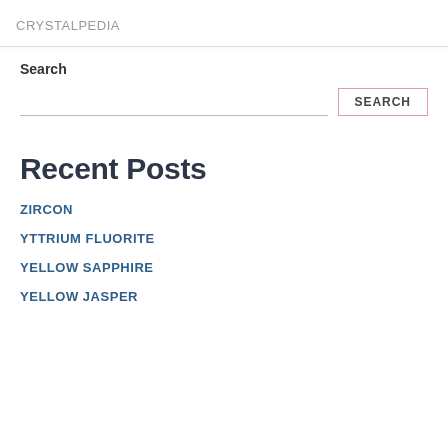CRYSTALPEDIA
Search
Recent Posts
ZIRCON
YTTRIUM FLUORITE
YELLOW SAPPHIRE
YELLOW JASPER